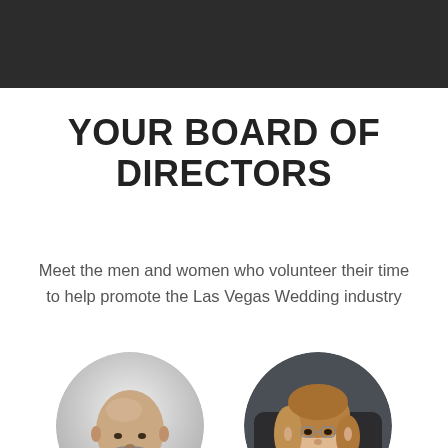YOUR BOARD OF DIRECTORS
Meet the men and women who volunteer their time to help promote the Las Vegas Wedding industry
[Figure (photo): Two circular portrait photos: left is a black-and-white photo of a bald man with a beard, right is a color photo of a smiling woman with blonde/brown hair seated in a dark chair.]